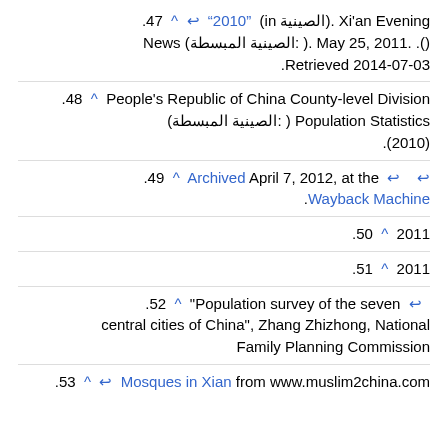.47 ^ "󿿿󿿿󿿿2010󿿿󿿿󿿿󿿿󿿿󿿿󿿿󿿿󿿿󿿿󿿿󿿿" ↩ (in الصينية). Xi'an Evening News (الصينية المبسطة: 󿿿󿿿󿿿󿿿). May 25, 2011. Retrieved 2014-07-03.
.48 ^ People's Republic of China County-level Division Population Statistics (الصينية المبسطة: 󿿿󿿿󿿿󿿿󿿿󿿿󿿿󿿿󿿿󿿿󿿿󿿿󿿿). (󿿿󿿿2010).
.49 ^ Archived April 7, 2012, at the ↩ Wayback Machine ↩ 󿿿󿿿󿿿󿿿󿿿󿿿󿿿󿿿󿿿󿿿.
.50 ^ 󿿿󿿿󿿿󿿿󿿿󿿿󿿿2011󿿿
.51 ^ 󿿿󿿿󿿿󿿿󿿿󿿿󿿿󿿿2011󿿿
.52 ^ "Population survey of the seven central cities of China", Zhang Zhizhong, National Family Planning Commission ↩ 󿿿󿿿󿿿󿿿󿿿󿿿󿿿󿿿󿿿󿿿
.53 ^ Mosques in Xian from www.muslim2china.com ↩